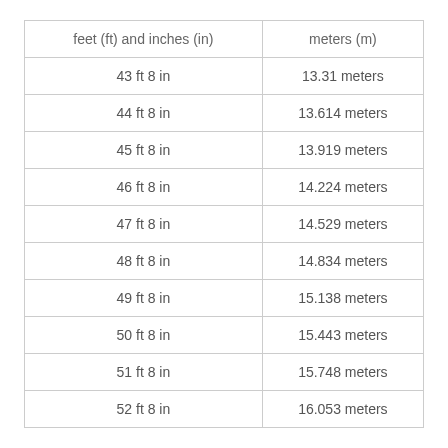| feet (ft) and inches (in) | meters (m) |
| --- | --- |
| 43 ft 8 in | 13.31 meters |
| 44 ft 8 in | 13.614 meters |
| 45 ft 8 in | 13.919 meters |
| 46 ft 8 in | 14.224 meters |
| 47 ft 8 in | 14.529 meters |
| 48 ft 8 in | 14.834 meters |
| 49 ft 8 in | 15.138 meters |
| 50 ft 8 in | 15.443 meters |
| 51 ft 8 in | 15.748 meters |
| 52 ft 8 in | 16.053 meters |